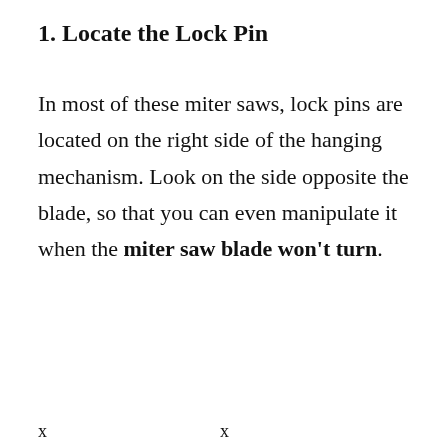1. Locate the Lock Pin
In most of these miter saws, lock pins are located on the right side of the hanging mechanism. Look on the side opposite the blade, so that you can even manipulate it when the miter saw blade won’t turn.
x
x